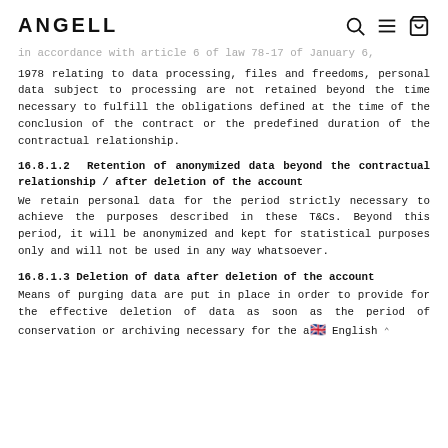ANGELL
in accordance with article 6 of law 78-17 of January 6, 1978 relating to data processing, files and freedoms, personal data subject to processing are not retained beyond the time necessary to fulfill the obligations defined at the time of the conclusion of the contract or the predefined duration of the contractual relationship.
16.8.1.2 Retention of anonymized data beyond the contractual relationship / after deletion of the account
We retain personal data for the period strictly necessary to achieve the purposes described in these T&Cs. Beyond this period, it will be anonymized and kept for statistical purposes only and will not be used in any way whatsoever.
16.8.1.3 Deletion of data after deletion of the account
Means of purging data are put in place in order to provide for the effective deletion of data as soon as the period of conservation or archiving necessary for the a
🇬🇧 English ^